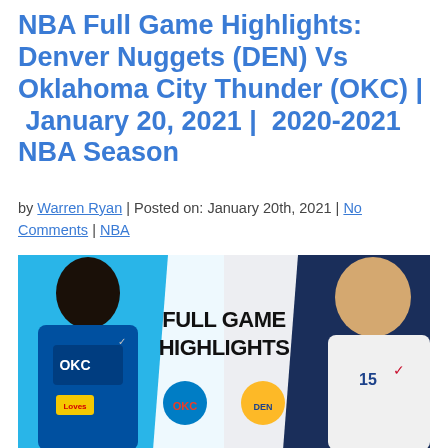NBA Full Game Highlights: Denver Nuggets (DEN) Vs Oklahoma City Thunder (OKC) | January 20, 2021 | 2020-2021 NBA Season
by Warren Ryan | Posted on: January 20th, 2021 | No Comments | NBA
[Figure (photo): NBA Full Game Highlights thumbnail showing two basketball players — an OKC Thunder player on the left in blue jersey and a Denver Nuggets player on the right in white jersey — with 'FULL GAME HIGHLIGHTS' text in the center, along with OKC and Denver Nuggets logos.]